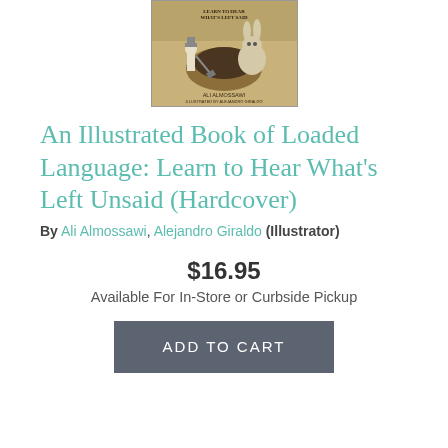[Figure (illustration): Book cover of 'An Illustrated Book of Loaded Language' showing a cartoon rabbit and a person digging, with sandy/earthy tones, author name Ali Almossawi at bottom]
An Illustrated Book of Loaded Language: Learn to Hear What's Left Unsaid (Hardcover)
By Ali Almossawi, Alejandro Giraldo (Illustrator)
$16.95
Available For In-Store or Curbside Pickup
ADD TO CART